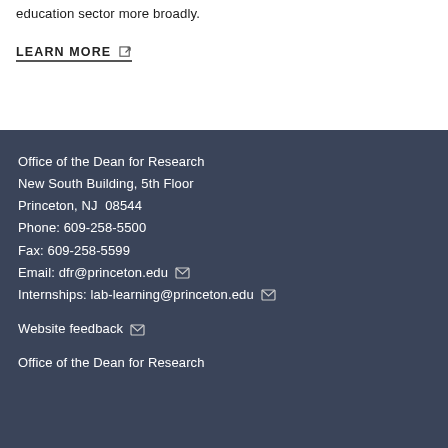education sector more broadly.
LEARN MORE (external link)
Office of the Dean for Research
New South Building, 5th Floor
Princeton, NJ  08544
Phone: 609-258-5500
Fax: 609-258-5599
Email: dfr@princeton.edu
Internships: lab-learning@princeton.edu
Website feedback
Office of the Dean for Research